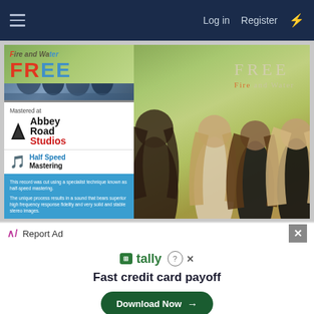Log in  Register
[Figure (photo): Album cover for 'Fire and Water' by FREE. Left sidebar shows album artwork with 'Fire and Water FREE' text, band photo in blue tones, Abbey Road Studios mastered badge, Half Speed Mastering logo, and a blue description text. Main image shows the album cover with three band members and 'FREE Fire and Water' text overlay on a green/olive background.]
Report Ad
tally  Fast credit card payoff
Download Now →